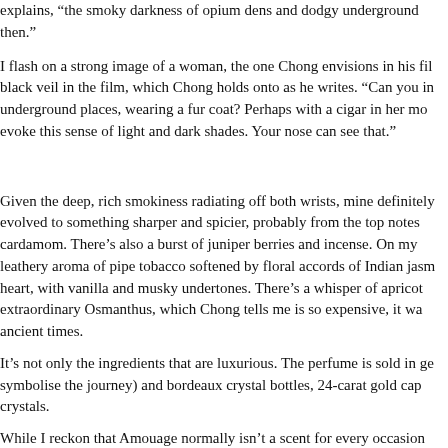explains, “the smoky darkness of opium dens and dodgy underground then.”
I flash on a strong image of a woman, the one Chong envisions in his fil black veil in the film, which Chong holds onto as he writes. “Can you in underground places, wearing a fur coat? Perhaps with a cigar in her mo evoke this sense of light and dark shades. Your nose can see that.”
Given the deep, rich smokiness radiating off both wrists, mine definitely evolved to something sharper and spicier, probably from the top notes cardamom. There’s also a burst of juniper berries and incense. On my leathery aroma of pipe tobacco softened by floral accords of Indian jasm heart, with vanilla and musky undertones. There’s a whisper of apricot extraordinary Osmanthus, which Chong tells me is so expensive, it wa ancient times.
It’s not only the ingredients that are luxurious. The perfume is sold in ge symbolise the journey) and bordeaux crystal bottles, 24-carat gold cap crystals.
While I reckon that Amouage normally isn’t a scent for every occasion